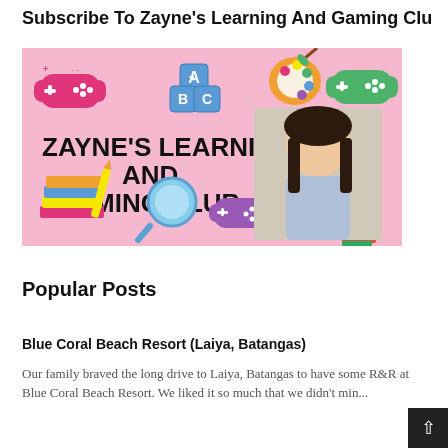Subscribe To Zayne's Learning And Gaming Club
[Figure (illustration): Banner image for Zayne's Learning And Gaming Club. Pink background with colorful icons: game controllers, ABC blocks, art palette, books, magnifying glass, microscope, building blocks, and a young girl. Text reads ZAYNE'S LEARNING AND GAMING CLUB in bold black letters.]
Popular Posts
Blue Coral Beach Resort (Laiya, Batangas)
Our family braved the long drive to Laiya, Batangas to have some R&R at Blue Coral Beach Resort. We liked it so much that we didn't min...